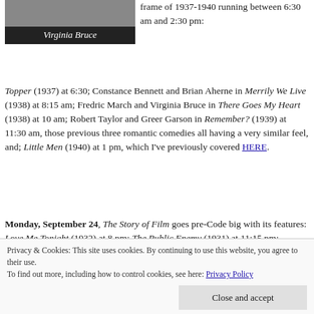[Figure (photo): Black and white photograph of Virginia Bruce (partial, top cropped)]
Virginia Bruce
frame of 1937-1940 running between 6:30 am and 2:30 pm: Topper (1937) at 6:30; Constance Bennett and Brian Aherne in Merrily We Live (1938) at 8:15 am; Fredric March and Virginia Bruce in There Goes My Heart (1938) at 10 am; Robert Taylor and Greer Garson in Remember? (1939) at 11:30 am, those previous three romantic comedies all having a very similar feel, and; Little Men (1940) at 1 pm, which I've previously covered HERE.
Monday, September 24, The Story of Film goes pre-Code big with its features: Love Me Tonight (1932) at 8 pm; The Public Enemy (1931) at 11:15 pm; Frankenstein (1931) at
Privacy & Cookies: This site uses cookies. By continuing to use this website, you agree to their use.
To find out more, including how to control cookies, see here: Privacy Policy